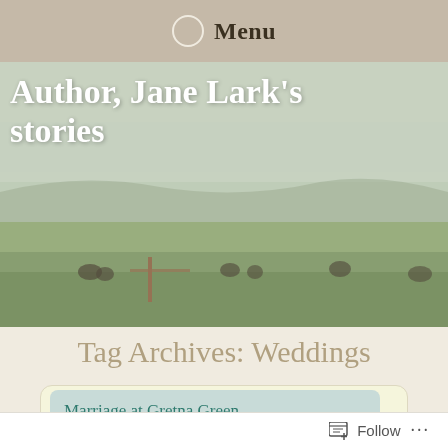Menu
Author, Jane Lark's stories
[Figure (photo): Landscape photo showing a wide open grassy field with distant figures on horseback or in carriages, hazy sky, taken from a low angle across fields.]
Tag Archives: Weddings
Marriage at Gretna Green
Follow